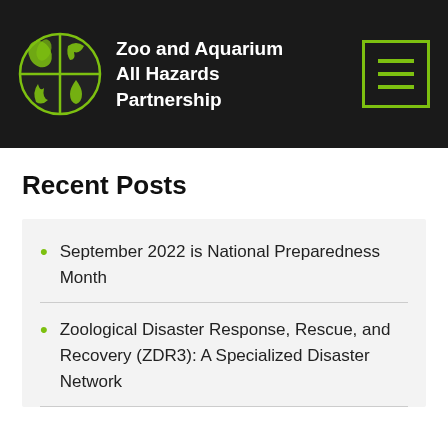Zoo and Aquarium All Hazards Partnership
Recent Posts
September 2022 is National Preparedness Month
Zoological Disaster Response, Rescue, and Recovery (ZDR3): A Specialized Disaster Network